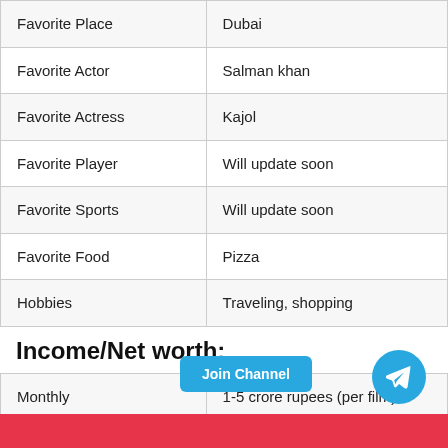|  |  |
| --- | --- |
| Favorite Place | Dubai |
| Favorite Actor | Salman khan |
| Favorite Actress | Kajol |
| Favorite Player | Will update soon |
| Favorite Sports | Will update soon |
| Favorite Food | Pizza |
| Hobbies | Traveling, shopping |
Income/Net worth:
|  |  |
| --- | --- |
| Monthly | 1-5 crore rupees (per film) |
| Net worth | Will update soon |